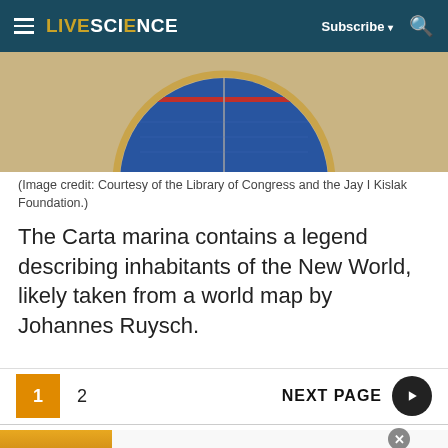LIVESCIENCE  Subscribe  [search]
[Figure (photo): Partial view of a circular historical map (Carta marina) with blue and gold coloring, showing a circular projection with a vertical line dividing it, a red band across the top, on a beige/tan background.]
(Image credit: Courtesy of the Library of Congress and the Jay I Kislak Foundation.)
The Carta marina contains a legend describing inhabitants of the New World, likely taken from a world map by Johannes Ruysch.
1  2  NEXT PAGE